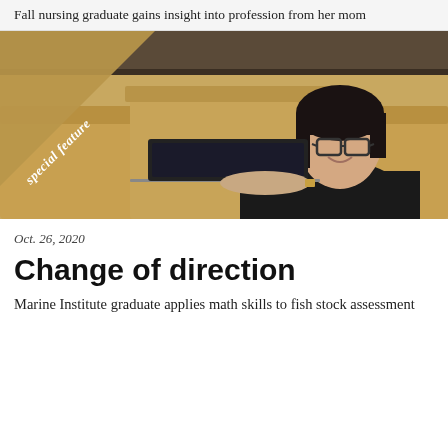Fall nursing graduate gains insight into profession from her mom
[Figure (photo): A young woman with dark hair and glasses wearing a black jacket, sitting on a tan/golden booth seat with a laptop, smiling. A triangular 'special feature' banner overlays the top-left corner of the image.]
Oct. 26, 2020
Change of direction
Marine Institute graduate applies math skills to fish stock assessment